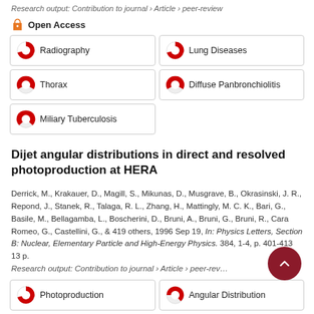Research output: Contribution to journal › Article › peer-review
Open Access
100% Radiography
100% Lung Diseases
48% Thorax
48% Diffuse Panbronchiolitis
38% Miliary Tuberculosis
Dijet angular distributions in direct and resolved photoproduction at HERA
Derrick, M., Krakauer, D., Magill, S., Mikunas, D., Musgrave, B., Okrasinski, J. R., Repond, J., Stanek, R., Talaga, R. L., Zhang, H., Mattingly, M. C. K., Bari, G., Basile, M., Bellagamba, L., Boscherini, D., Bruni, A., Bruni, G., Bruni, R., Cara Romeo, G., Castellini, G., & 419 others, 1996 Sep 19, In: Physics Letters, Section B: Nuclear, Elementary Particle and High-Energy Physics. 384, 1-4, p. 401-413 13 p.
Research output: Contribution to journal › Article › peer-review
100% Photoproduction
72% Angular Distribution